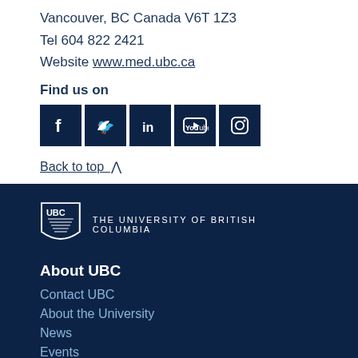Vancouver, BC Canada V6T 1Z3
Tel 604 822 2421
Website www.med.ubc.ca
Find us on
[Figure (other): Social media icons: Facebook, Twitter, LinkedIn, YouTube, Instagram — all in dark navy square buttons]
Back to top ∧
[Figure (logo): UBC shield logo with text THE UNIVERSITY OF BRITISH COLUMBIA]
About UBC
Contact UBC
About the University
News
Events
Careers
Make a Gift
Search UBC.ca